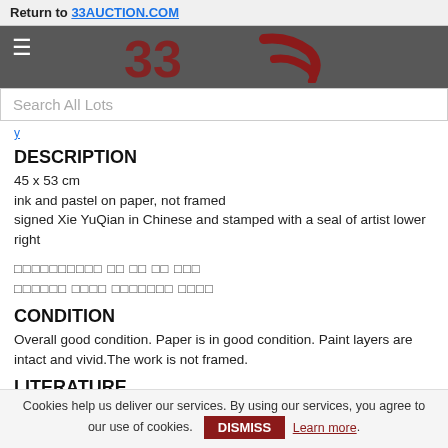Return to 33AUCTION.COM
[Figure (logo): 33Auction website navigation bar with hamburger menu icon on left and stylized '33' logo in dark red on grey background]
Search All Lots
DESCRIPTION
45 x 53 cm
ink and pastel on paper, not framed
signed Xie YuQian in Chinese and stamped with a seal of artist lower right
Chinese characters text (description in Chinese)
CONDITION
Overall good condition. Paper is in good condition. Paint layers are intact and vivid.The work is not framed.
LITERATURE
Chia Yu Chian was trained under the best of the Nanyang masters in the NanyangAcademy of Fine Arts (NAFA), namely by Cheong Soo Pieng and
Cookies help us deliver our services. By using our services, you agree to our use of cookies. DISMISS Learn more.